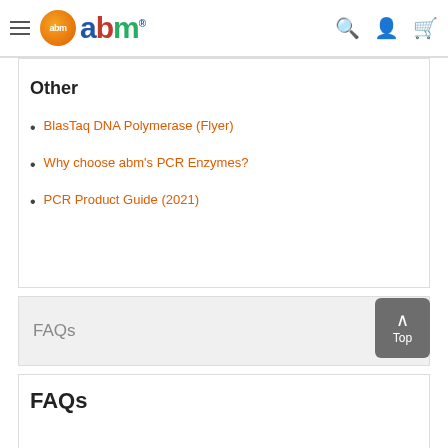abm navigation bar with logo
Other
BlasTaq DNA Polymerase (Flyer)
Why choose abm's PCR Enzymes?
PCR Product Guide (2021)
FAQs
FAQs